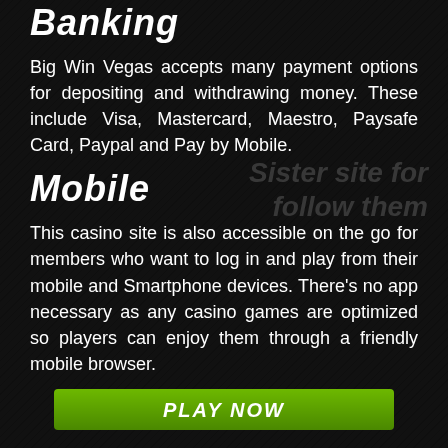Banking
Big Win Vegas accepts many payment options for depositing and withdrawing money. These include Visa, Mastercard, Maestro, Paysafe Card, Paypal and Pay by Mobile.
Mobile
This casino site is also accessible on the go for members who want to log in and play from their mobile and Smartphone devices. There’s no app necessary as any casino games are optimized so players can enjoy them through a friendly mobile browser.
PLAY NOW